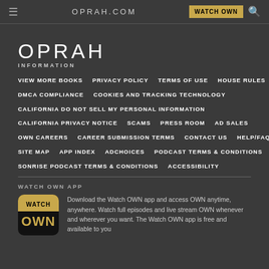OPRAH.COM | WATCH OWN
OPRAH
INFORMATION
VIEW MORE BOOKS
PRIVACY POLICY
TERMS OF USE
HOUSE RULES
DMCA COMPLIANCE
COOKIES AND TRACKING TECHNOLOGY
CALIFORNIA DO NOT SELL MY PERSONAL INFORMATION
CALIFORNIA PRIVACY NOTICE
SCAMS
PRESS ROOM
AD SALES
OWN CAREERS
CAREER SUBMISSION TERMS
CONTACT US
HELP/FAQ
SITE MAP
APP INDEX
ADCHOICES
PODCAST TERMS & CONDITIONS
SONRISE PODCAST TERMS & CONDITIONS
ACCESSIBILITY
WATCH OWN APP
[Figure (logo): Watch OWN app icon with gold and black branding showing WATCH OWN text]
Download the Watch OWN app and access OWN anytime, anywhere. Watch full episodes and live stream OWN whenever and wherever you want. The Watch OWN app is free and available to you